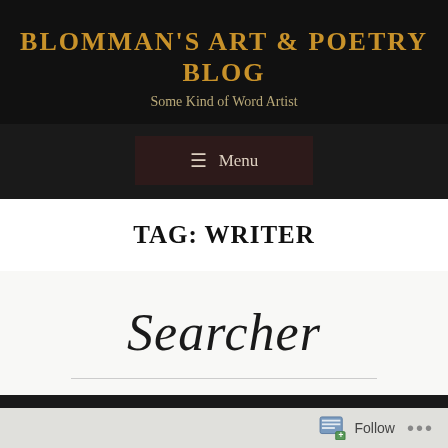BLOMMAN'S ART & POETRY BLOG
Some Kind of Word Artist
≡ Menu
TAG: WRITER
Searcher
Follow ...